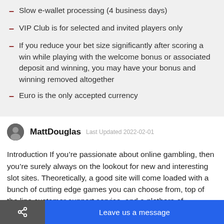Slow e-wallet processing (4 business days)
VIP Club is for selected and invited players only
If you reduce your bet size significantly after scoring a win while playing with the welcome bonus or associated deposit and winning, you may have your bonus and winning removed altogether
Euro is the only accepted currency
MattDouglas   Last Updated 2022-02-01
Introduction If you’re passionate about online gambling, then you’re surely always on the lookout for new and interesting slot sites. Theoretically, a good site will come loaded with a bunch of cutting edge games you can choose from, top of the line customer support service, and a plethora of generous promotions and offers. S… Well, let’s bring it up a no